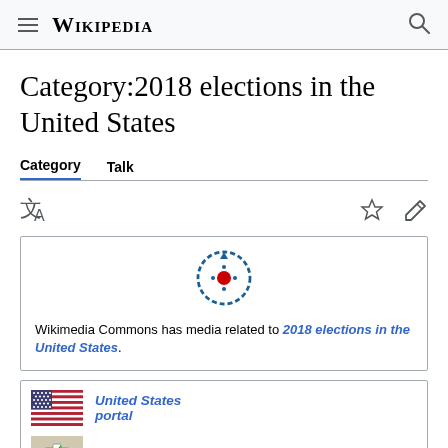Wikipedia
Category:2018 elections in the United States
Category  Talk
[Figure (logo): Wikimedia Commons circular arrow logo with red dot in center]
Wikimedia Commons has media related to 2018 elections in the United States.
United States portal
Politics portal
2010s portal